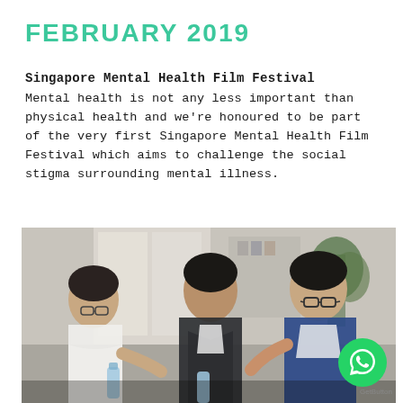FEBRUARY 2019
Singapore Mental Health Film Festival
Mental health is not any less important than physical health and we're honoured to be part of the very first Singapore Mental Health Film Festival which aims to challenge the social stigma surrounding mental illness.
[Figure (photo): Three people in a bright indoor setting, appearing to be at the Singapore Mental Health Film Festival event. A woman on the left wearing glasses, a man in the center wearing a dark jacket, and a man on the right wearing glasses and a blue hoodie. They appear to be having a conversation or exchanging something.]
GetButton